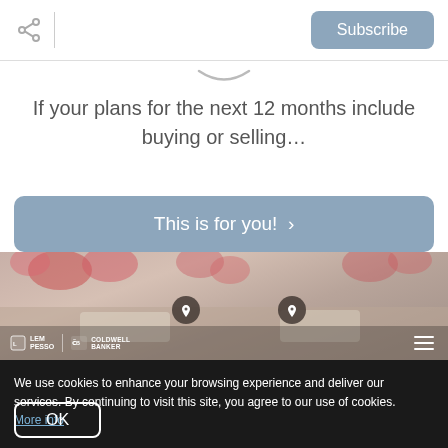[Figure (screenshot): Top navigation bar with share icon, vertical divider, and blue Subscribe button]
[Figure (screenshot): Scroll indicator curved arrow at top of content area]
If your plans for the next 12 months include buying or selling…
[Figure (screenshot): Blue CTA button reading 'This is for you! >']
[Figure (photo): Background photo of a dining table with pink/red flower arrangements. Overlay shows LEM PESSO and Coldwell Banker logos and hamburger menu icon. Two map pin icons visible on the photo.]
We use cookies to enhance your browsing experience and deliver our services. By continuing to visit this site, you agree to our use of cookies. More info
[Figure (screenshot): OK button with white border on dark background cookie consent banner]